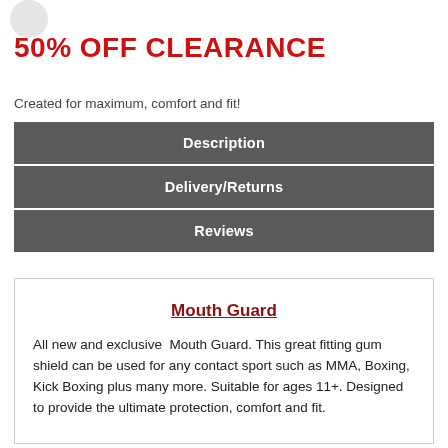[Figure (logo): Partially visible circular logo/badge in top left corner]
50% OFF CLEARANCE
Created for maximum, comfort and fit!
Description
Delivery/Returns
Reviews
Mouth Guard
All new and exclusive Mouth Guard. This great fitting gum shield can be used for any contact sport such as MMA, Boxing, Kick Boxing plus many more. Suitable for ages 11+. Designed to provide the ultimate protection, comfort and fit.